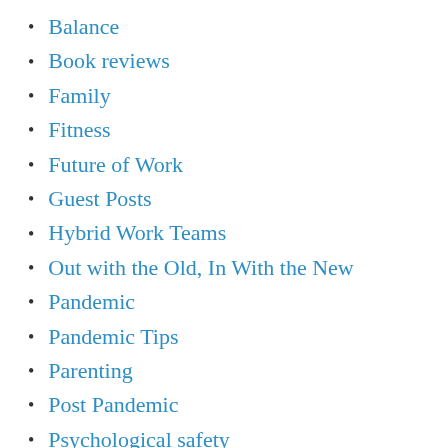Balance
Book reviews
Family
Fitness
Future of Work
Guest Posts
Hybrid Work Teams
Out with the Old, In With the New
Pandemic
Pandemic Tips
Parenting
Post Pandemic
Psychological safety
public speaking
Remote interviews
Remote Leadership